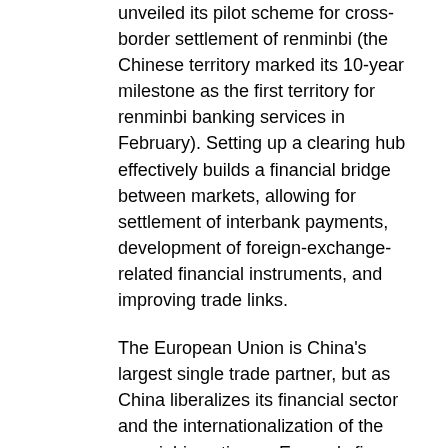unveiled its pilot scheme for cross-border settlement of renminbi (the Chinese territory marked its 10-year milestone as the first territory for renminbi banking services in February). Setting up a clearing hub effectively builds a financial bridge between markets, allowing for settlement of interbank payments, development of foreign-exchange-related financial instruments, and improving trade links.
The European Union is China's largest single trade partner, but as China liberalizes its financial sector and the internationalization of the renminbi continues, Europe's finance hubs are eager to solidify financial ties with China—and attract investment. London already handles 60% of the renminbi foreign exchange market outside of China, but it is facing increasing competition for that business.
If Europe's financial centers are implicitly embracing the notion of the renminbi's dominance, institutional investors are openly doing so. In a survey launched in